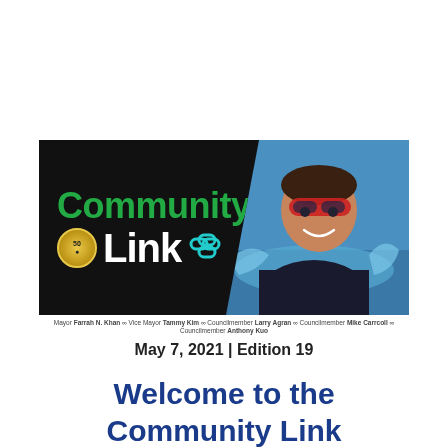[Figure (illustration): Community Link newsletter banner with green 'Community' text and white 'Link' text on black background, with a 50th anniversary gold badge, chain link icon in teal, and a photo of a child swimmer with red goggles on the right side.]
Mayor Farrah N. Khan ∞ Vice Mayor Tammy Kim ∞ Councilmember Larry Agran ∞ Councilmember Mike Carrcoll ∞ Councilmember Anthony Kuo
May 7, 2021 | Edition 19
Welcome to the Community Link Newsletter